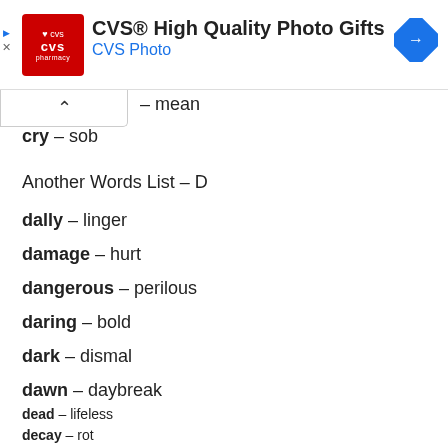[Figure (other): CVS Pharmacy advertisement banner: CVS High Quality Photo Gifts, CVS Photo]
– mean
cry – sob
Another Words List – D
dally – linger
damage – hurt
dangerous – perilous
daring – bold
dark – dismal
dawn – daybreak
dead – lifeless
decay – rot
deduct – subtract
defend – protect